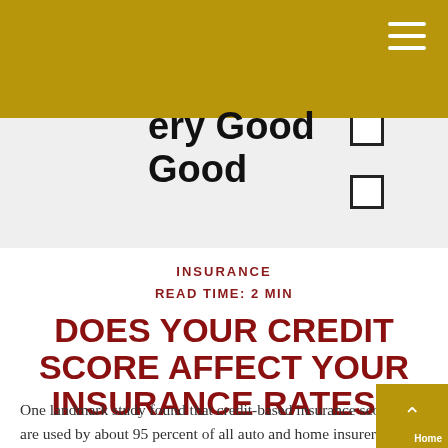[Figure (photo): Partial view of a checklist/form showing 'Very Good' and 'Good' rating options with checkboxes, on a white paper background, with gold header bar above]
INSURANCE
READ TIME: 2 MIN
DOES YOUR CREDIT SCORE AFFECT YOUR INSURANCE RATES?
One landmark study found that credit-based insurance scores are used by about 95 percent of all auto and home insurers in calculating the cost of insurance to individuals.¹